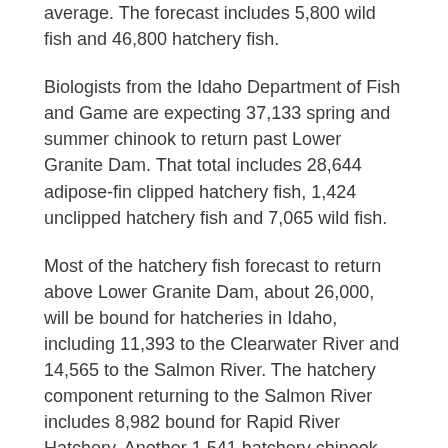average. The forecast includes 5,800 wild fish and 46,800 hatchery fish.
Biologists from the Idaho Department of Fish and Game are expecting 37,133 spring and summer chinook to return past Lower Granite Dam. That total includes 28,644 adipose-fin clipped hatchery fish, 1,424 unclipped hatchery fish and 7,065 wild fish.
Most of the hatchery fish forecast to return above Lower Granite Dam, about 26,000, will be bound for hatcheries in Idaho, including 11,393 to the Clearwater River and 14,565 to the Salmon River. The hatchery component returning to the Salmon River includes 8,982 bound for Rapid River Hatchery. Another 1,541 hatchery chinook are forecast to return to the upper reaches of Hells Canyon.
The overall forecast represents a modest improvement over last year's return of 43,077 Snake River-bound salmon and...